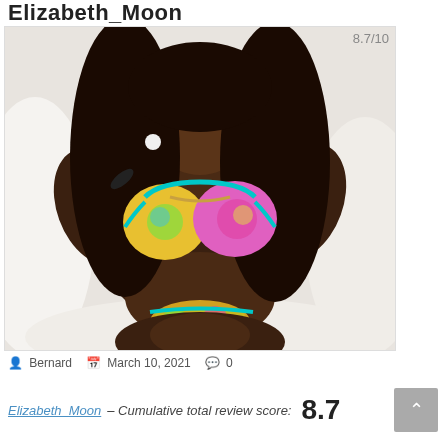Elizabeth_Moon
[Figure (photo): Woman in colorful bikini lying back on white fur, photo with 8.7/10 rating overlay]
Bernard   March 10, 2021   0
Elizabeth_Moon – Cumulative total review score: 8.7